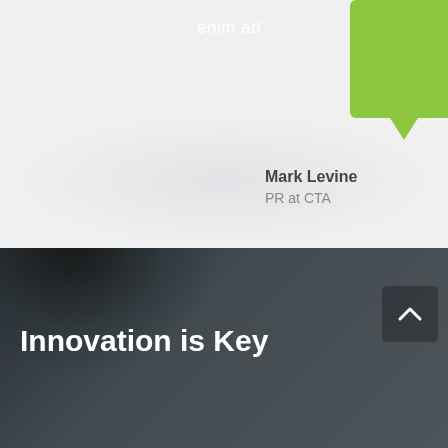[Figure (illustration): Green speech bubble with text 'enim ad' on a light grey background]
enim ad
[Figure (photo): Circular avatar photo of Mark Levine, a man smiling]
Mark Levine
PR at CTA
[Figure (photo): Dark background with a man's silhouette/hair visible, forming the bottom dark section of the page]
Innovation is Key
Lorem ipsum dolor sit amet, consectetuer adipiscing elit, sed diam nonummy nibh euismod tincidunt ut laoreet dolore magna.